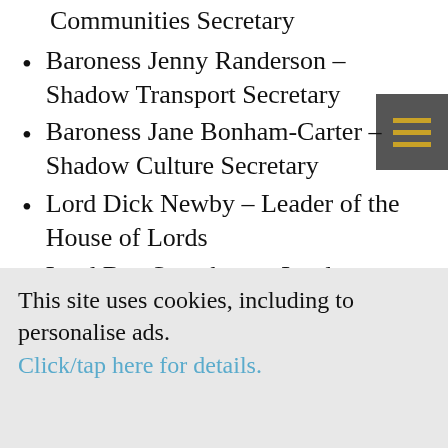Communities Secretary
Baroness Jenny Randerson – Shadow Transport Secretary
Baroness Jane Bonham-Carter – Shadow Culture Secretary
Lord Dick Newby – Leader of the House of Lords
Lord Ben Stoneham – Lords Chief Whip
Baroness Kate Parminter – Shadow... (partially visible)
This site uses cookies, including to personalise ads. Click/tap here for details.
I'm happy to visit site